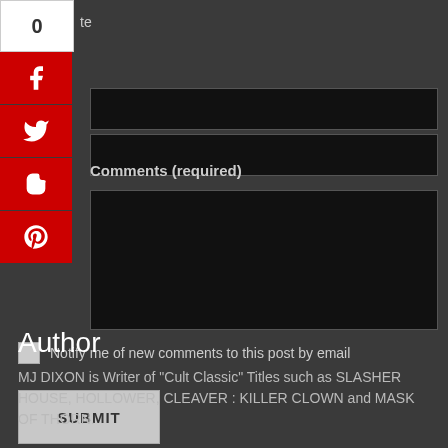[Figure (screenshot): Social share button panel with count '0', Facebook, Twitter, Blogger, and Pinterest buttons stacked vertically on the left side]
Comments (required)
Notify me of new comments to this post by email
SUBMIT
Author
MJ DIXON is Writer of "Cult Classic" Titles such as SLASHER HOUSE, HOLLOWER, CLEAVER : KILLER CLOWN and MASK OF THORN.